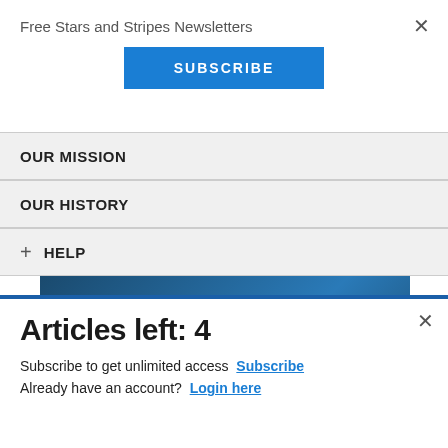Free Stars and Stripes Newsletters
SUBSCRIBE
OUR MISSION
OUR HISTORY
+ HELP
[Figure (screenshot): Commissary Click2Go advertisement banner showing logos and text 'order groceries | PICKUP']
Articles left: 4
Subscribe to get unlimited access  Subscribe
Already have an account?  Login here